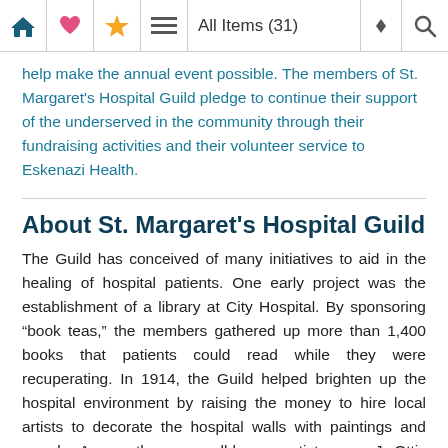All Items (31)
help make the annual event possible. The members of St. Margaret's Hospital Guild pledge to continue their support of the underserved in the community through their fundraising activities and their volunteer service to Eskenazi Health.
About St. Margaret's Hospital Guild
The Guild has conceived of many initiatives to aid in the healing of hospital patients. One early project was the establishment of a library at City Hospital. By sponsoring “book teas,” the members gathered up more than 1,400 books that patients could read while they were recuperating. In 1914, the Guild helped brighten up the hospital environment by raising the money to hire local artists to decorate the hospital walls with paintings and murals. Among the now well-known artists were J. Ottis Adams, Wayman Adams, William Forsyth, Carl Graf, Otto Stark, Clifton Wheeler, and T. C. Steele.